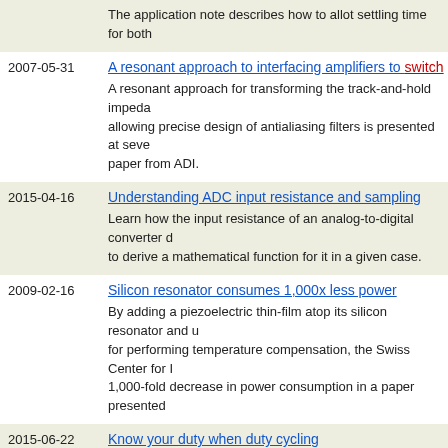| Date | Title / Description |
| --- | --- |
|  | The application note describes how to allot settling time for both… |
| 2007-05-31 | A resonant approach to interfacing amplifiers to switch…
A resonant approach for transforming the track-and-hold impeda… allowing precise design of antialiasing filters is presented at seve… paper from ADI. |
| 2015-04-16 | Understanding ADC input resistance and sampling
Learn how the input resistance of an analog-to-digital converter d… to derive a mathematical function for it in a given case. |
| 2009-02-16 | Silicon resonator consumes 1,000x less power
By adding a piezoelectric thin-film atop its silicon resonator and u… for performing temperature compensation, the Swiss Center for I… 1,000-fold decrease in power consumption in a paper presented… |
| 2015-06-22 | Know your duty when duty cycling
Here is a look at the perils of assuming duty cycling is as easy in… digital and RF domains. |
| 2009-11-11 | Integrated solutions make analog filter design easy
This article examines a filter implementation, first using a continu… switched-capacitor filter approach to show the differences in pe… |
| 1999-02-01 | Improving the performance of an ADC
Several factors contribute to the corruption of the data output of a… proper grounding techniques and selecting the right op amp to d… |